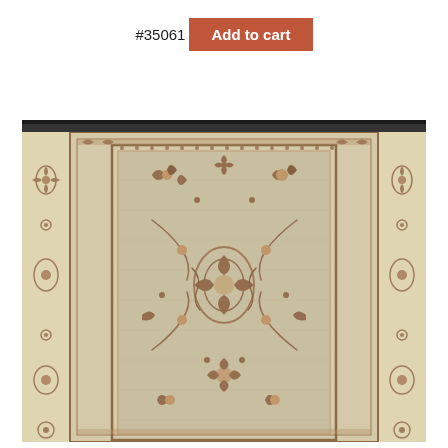#35061
Add to cart
[Figure (photo): Photograph of an ornate Persian/Oriental style rug with floral and scrollwork patterns. The rug features a beige/cream and light taupe color palette with rust, brown, and gold motifs. It has a detailed border with repeating floral elements and a central field filled with intricate botanical designs including flowers, leaves, and curving vines. The rug is photographed hanging or laid flat, showing the full central section and borders.]